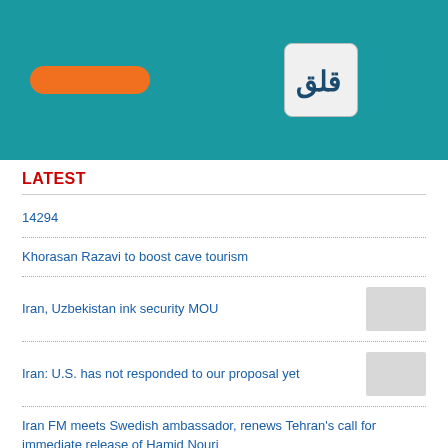[Figure (logo): Teal banner with orange pill shape on left and a logo box on right showing Arabic-style text]
LATEST
14294
Khorasan Razavi to boost cave tourism
Iran, Uzbekistan ink security MOU
Iran: U.S. has not responded to our proposal yet
Iran FM meets Swedish ambassador, renews Tehran's call for immediate release of Hamid Nouri
UAE says decision to send ambassador to Tehran is intended to